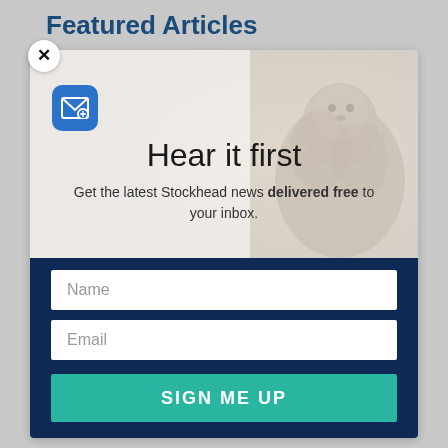Featured Articles
[Figure (screenshot): Close button (X) circle in top-left of modal]
[Figure (illustration): Modal popup with email newsletter signup. Top half shows a groundhog/marmot photo background with a blue email icon and text 'Hear it first' and 'Get the latest Stockhead news delivered free to your inbox.' Bottom half is dark navy blue with Name and Email input fields and a teal 'SIGN ME UP' button.]
Hear it first
Get the latest Stockhead news delivered free to your inbox.
Name
Email
SIGN ME UP